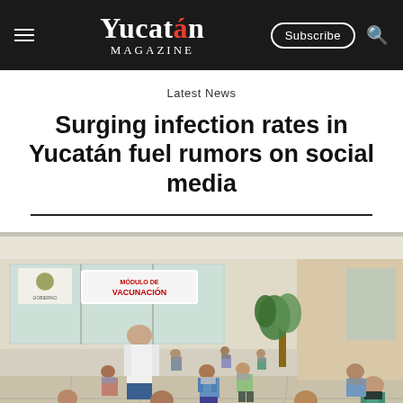Yucatán Magazine — Subscribe
Latest News
Surging infection rates in Yucatán fuel rumors on social media
[Figure (photo): Interior of a vaccination center (Módulo de Vacunación) with many people seated in chairs wearing face masks, socially distanced. A healthcare worker in white stands at the front. A large banner reads 'MÓDULO DE VACUNACIÓN'.]